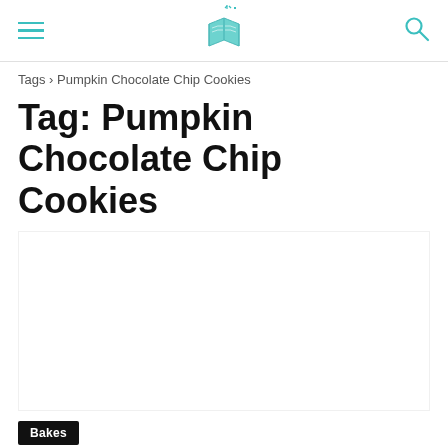≡  [book logo]  🔍
Tags › Pumpkin Chocolate Chip Cookies
Tag: Pumpkin Chocolate Chip Cookies
[Figure (photo): Blank/white image placeholder area for the Pumpkin Chocolate Chip Cookies article card]
Bakes
Pumpkin Chocolate Chip Cookies
Cheryl  -  October 25, 2020